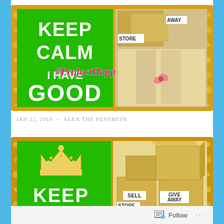[Figure (screenshot): Top collage image showing 'Keep Calm I Have Good' text on green background with #ProjectHappyJanuary overlay in red/pink italic text, and boxes labeled SELL, STORE, AWAY on right side]
JAN 22, 2018  ~  ALEX THE PENSMITH
[Figure (screenshot): Bottom collage image showing 'Keep Calm' with crown on green background on left, and cardboard boxes labeled SELL, GIVE AWAY, STORE on right with golden bokeh border]
Follow ...